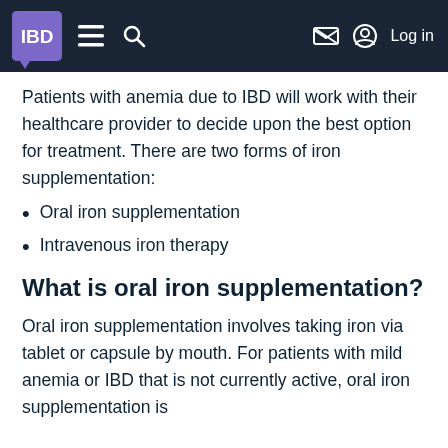IBD | navigation bar with menu, search, and log in
Patients with anemia due to IBD will work with their healthcare provider to decide upon the best option for treatment. There are two forms of iron supplementation:
Oral iron supplementation
Intravenous iron therapy
What is oral iron supplementation?
Oral iron supplementation involves taking iron via tablet or capsule by mouth. For patients with mild anemia or IBD that is not currently active, oral iron supplementation is